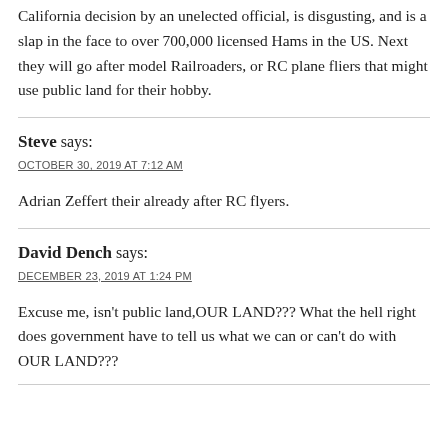California decision by an unelected official, is disgusting, and is a slap in the face to over 700,000 licensed Hams in the US. Next they will go after model Railroaders, or RC plane fliers that might use public land for their hobby.
Steve says:
OCTOBER 30, 2019 AT 7:12 AM
Adrian Zeffert their already after RC flyers.
David Dench says:
DECEMBER 23, 2019 AT 1:24 PM
Excuse me, isn't public land,OUR LAND??? What the hell right does government have to tell us what we can or can't do with OUR LAND???